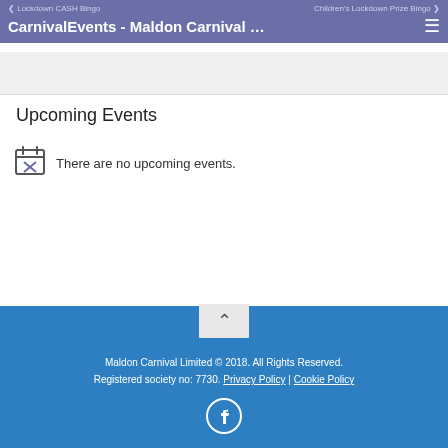CarnivalEvents - Maldon Carnival …
Upcoming Events
There are no upcoming events.
Maldon Carnival Limited © 2018. All Rights Reserved. Registered society no: 7730. Privacy Policy | Cookie Policy